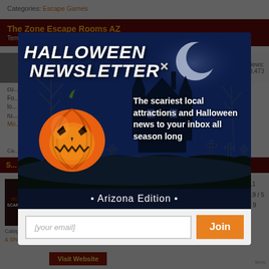Categories: Escape Games
The Zone Escape Rooms AZ
Tempe, AZ
Come, check out the highest rated...  Views: 3,473
cu... Fo... lo... ru... Read More
Ca...
S... M...
drive-through Halloween show, drive-in movies, cemetery wine and beer bar, live music Read More
Photos: 11   Rating: 4.9 / 5   Reviews: 9
Categories: Drive-Through | Haunted Houses | Zombie Hunts & Shootouts | Halloween Parties & Nightlife | Escape Games
[Figure (screenshot): Halloween newsletter popup modal with pumpkin illustration, haunted house background, title 'HALLOWEEN NEWSLETTER', tagline about scariest local attractions, Arizona Edition email signup form with Join button]
HALLOWEEN NEWSLETTER
The scariest local attractions and Halloween news to your inbox all season long
• Arizona Edition •
[your email]
Join
Visit Website